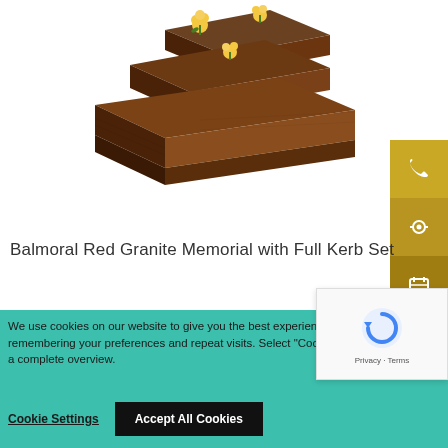[Figure (photo): Wooden stepped planter box with yellow flowers, tiered design in dark wood finish]
Balmoral Red Granite Memorial with Full Kerb Set
[Figure (screenshot): Cookie consent banner on teal background with Cookie Settings and Accept All Cookies buttons, CAPTCHA overlay in corner]
We use cookies on our website to give you the best experience by remembering your preferences and repeat visits. Select "Cookie Settings" for a complete overview.
Cookie Settings   Accept All Cookies